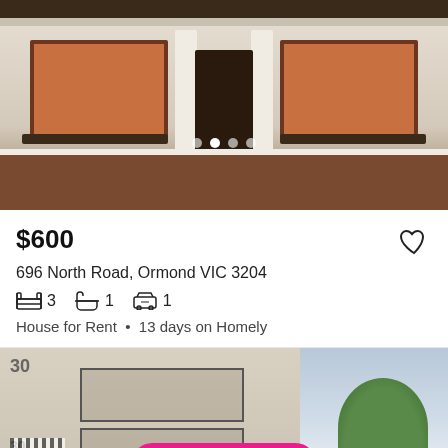[Figure (photo): Front facade of a heritage-style house with brick detailing, two red-framed windows on each side, a dark front door flanked by white columns, and brick base. Carousel dots shown at bottom.]
$600
696 North Road, Ormond VIC 3204
3  1  1
House for Rent • 13 days on Homely
[Figure (photo): Exterior of a multi-storey apartment block with balconies, black railings, striped awnings on ground floor, and trees/sky in background. Save search button overlaid.]